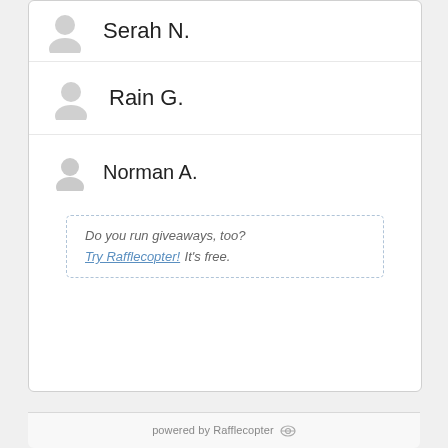Serah N.
Rain G.
Norman A.
Do you run giveaways, too? Try Rafflecopter! It's free.
powered by Rafflecopter